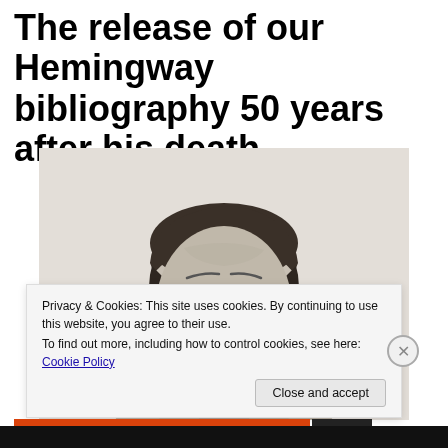The release of our Hemingway bibliography 50 years after his death
[Figure (illustration): Pencil sketch portrait of Ernest Hemingway, showing his face and upper shoulders, looking slightly downward with a mustache, rendered in graphite on light paper.]
Privacy & Cookies: This site uses cookies. By continuing to use this website, you agree to their use.
To find out more, including how to control cookies, see here: Cookie Policy